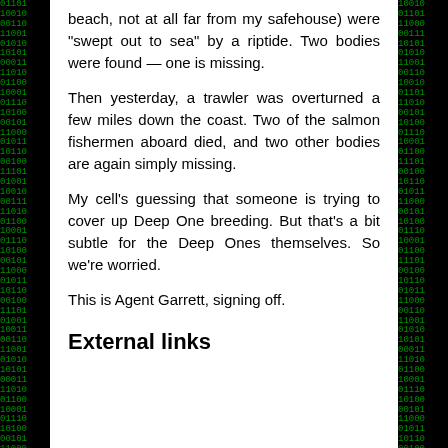beach, not at all far from my safehouse) were "swept out to sea" by a riptide. Two bodies were found — one is missing.
Then yesterday, a trawler was overturned a few miles down the coast. Two of the salmon fishermen aboard died, and two other bodies are again simply missing.
My cell's guessing that someone is trying to cover up Deep One breeding. But that's a bit subtle for the Deep Ones themselves. So we're worried.
This is Agent Garrett, signing off.
External links